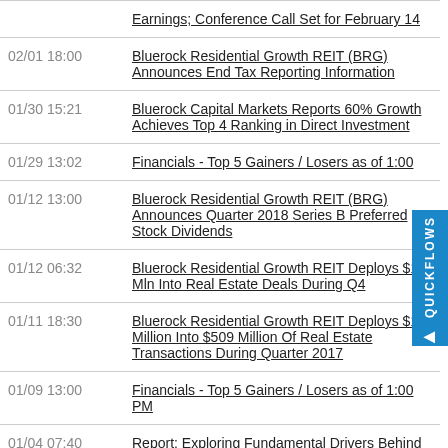Earnings; Conference Call Set for February 14
02/01 18:00 — Bluerock Residential Growth REIT (BRG) Announces End Tax Reporting Information
01/30 15:21 — Bluerock Capital Markets Reports 60% Growth Achieves Top 4 Ranking in Direct Investment
01/29 13:02 — Financials - Top 5 Gainers / Losers as of 1:00
01/12 13:00 — Bluerock Residential Growth REIT (BRG) Announces Quarter 2018 Series B Preferred Stock Dividends
01/12 06:32 — Bluerock Residential Growth REIT Deploys $189 Mln Into Real Estate Deals During Q4
01/11 18:30 — Bluerock Residential Growth REIT Deploys $189 Million Into $509 Million Of Real Estate Transactions During Quarter 2017
01/09 13:00 — Financials - Top 5 Gainers / Losers as of 1:00 PM
01/04 07:40 — Report: Exploring Fundamental Drivers Behind K2M G